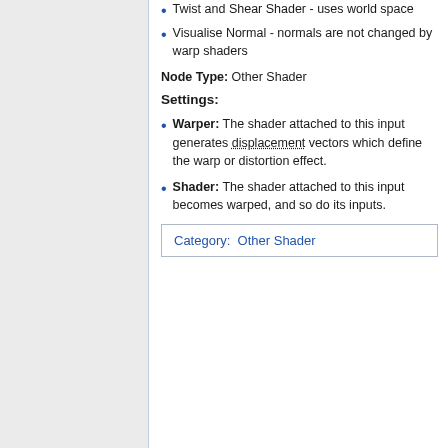Twist and Shear Shader - uses world space
Visualise Normal - normals are not changed by warp shaders
Node Type: Other Shader
Settings:
Warper: The shader attached to this input generates displacement vectors which define the warp or distortion effect.
Shader: The shader attached to this input becomes warped, and so do its inputs.
Category:  Other Shader